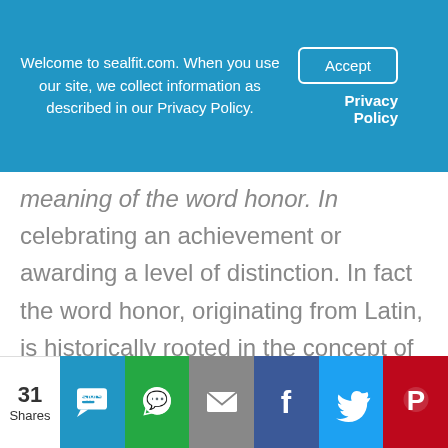Welcome to sealfit.com. When you use our site, we collect information as described in our Privacy Policy.
meaning of the word honor in celebrating an achievement or awarding a level of distinction. In fact the word honor, originating from Latin, is historically rooted in the concept of nobility and living by a code of conduct. You and I know that acting with honor is more than getting good grades or raising the most money.

The US Navy uses the word honor as one of three guiding values: